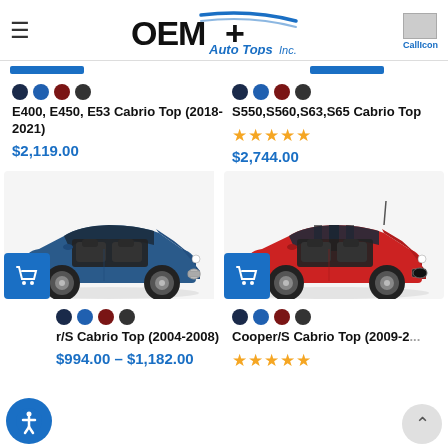OEM+ Auto Tops Inc.
[Figure (logo): OEM+ Auto Tops Inc. logo with blue swoosh and text]
[Figure (illustration): Call icon placeholder image with text CallIcon]
E400, E450, E53 Cabrio Top (2018-2021)
$2,119.00
S550,S560,S63,S65 Cabrio Top
$2,744.00
[Figure (photo): Blue MINI Cooper convertible with top down, facing right]
[Figure (photo): Red MINI Cooper S convertible with top down, facing right]
r/S Cabrio Top (2004-2008)
$994.00 – $1,182.00
Cooper/S Cabrio Top (2009-2...